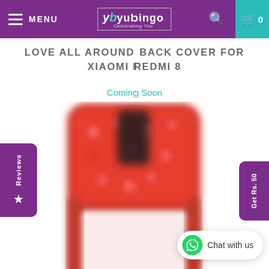MENU | yb yubingo | Search | Cart 0
LOVE ALL AROUND BACK COVER FOR XIAOMI REDMI 8
Coming Soon
[Figure (photo): Blurred product photo of a red phone case (Love All Around Back Cover for Xiaomi Redmi 8) with heart patterns and a black cutout area for camera]
Reviews (star icon)
Get Rs. 50
Chat with us